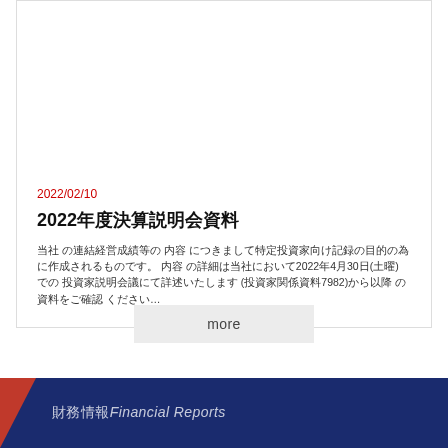2022/02/10
2022年度決算説明会資料
当社 の連結経営成績等の 内容 につきまして特定投資家向け記録の目的の為に作成されるものです。 内容 の詳細は当社において2022年4月30日(土曜) での 投資家説明会議にて詳述いたします (投資家関係資料7982)から以降 の 資料をご確認 ください…
more
財務情報Financial Reports